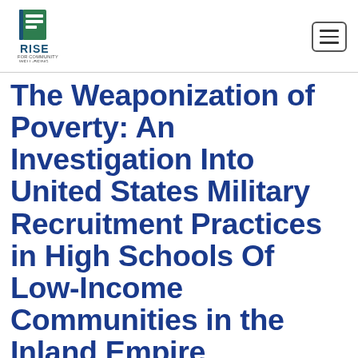[Figure (logo): RISE for Community Well-Being logo — green document/flag icon above the text RISE FOR COMMUNITY WELL-BEING]
The Weaponization of Poverty: An Investigation Into United States Military Recruitment Practices in High Schools Of Low-Income Communities in the Inland Empire
Author: Michael Springer Gould